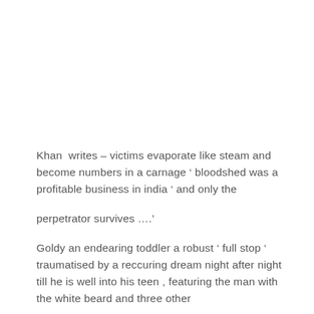Khan  writes – victims evaporate like steam and become numbers in a carnage ' bloodshed was a profitable business in india ' and only the

perpetrator survives ….'
Goldy an endearing toddler a robust ' full stop ' traumatised by a reccuring dream night after night till he is well into his teen , featuring the man with the white beard and three other